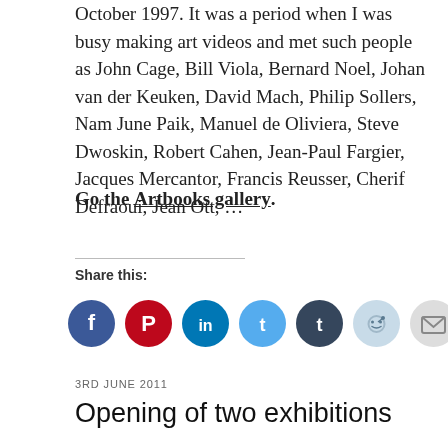October 1997. It was a period when I was busy making art videos and met such people as John Cage, Bill Viola, Bernard Noel, Johan van der Keuken, David Mach, Philip Sollers, Nam June Paik, Manuel de Oliviera, Steve Dwoskin, Robert Cahen, Jean-Paul Fargier, Jacques Mercantor, Francis Reusser, Cherif Defraoui, Jean Ott, …
Go the Artbooks gallery.
Share this:
[Figure (infographic): Row of 7 circular social media share icons: Facebook (blue), Pinterest (red), LinkedIn (teal), Twitter (light blue), Tumblr (dark navy), Reddit (light blue/grey), Email (grey)]
3RD JUNE 2011
Opening of two exhibitions
[Figure (photo): Interior photo of a gallery or exhibition space showing ceiling lights and a framed artwork on the wall]